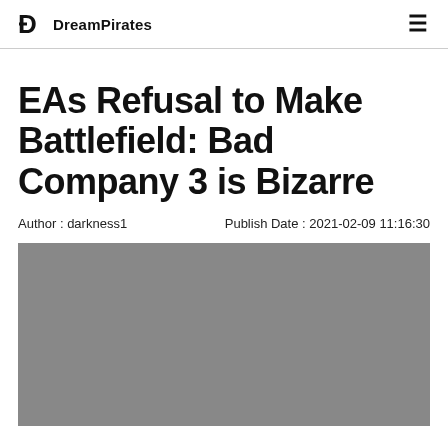DreamPirates
EAs Refusal to Make Battlefield: Bad Company 3 is Bizarre
Author : darkness1    Publish Date : 2021-02-09 11:16:30
[Figure (photo): Gray placeholder image for article hero]